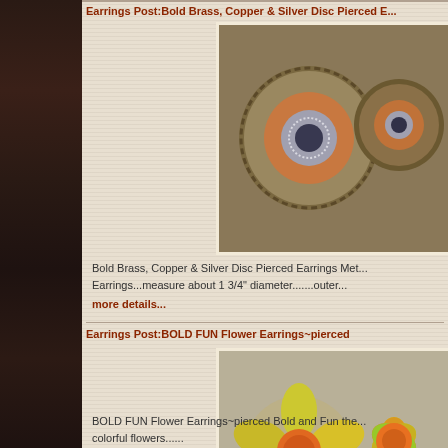Earrings Post:Bold Brass, Copper & Silver Disc Pierced E...
[Figure (photo): Metallic disc pierced earrings in brass, copper and silver tones]
Bold Brass, Copper & Silver Disc Pierced Earrings Met... Earrings...measure about 1 3/4" diameter.......outer...
more details...
Earrings Post:BOLD FUN Flower Earrings~pierced
[Figure (photo): BOLD FUN colorful flower earrings in yellow, pink and orange]
BOLD FUN Flower Earrings~pierced Bold and Fun the... colorful flowers......